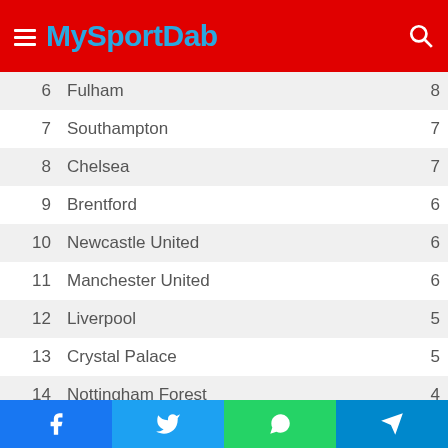MySportDab
| # | Team | Pts |
| --- | --- | --- |
| 6 | Fulham | 8 |
| 7 | Southampton | 7 |
| 8 | Chelsea | 7 |
| 9 | Brentford | 6 |
| 10 | Newcastle United | 6 |
| 11 | Manchester United | 6 |
| 12 | Liverpool | 5 |
| 13 | Crystal Palace | 5 |
| 14 | Nottingham Forest | 4 |
| 15 | Everton | 3 |
| 16 | Aston Villa | 3 |
| 17 | West Ham United | 3 |
| 18 | AFC Bournemouth | 2 |
| 19 | Wolverhampton Wanderers | 2 |
Facebook Twitter WhatsApp Telegram